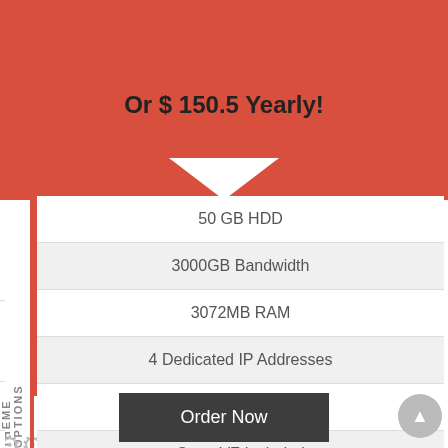Or $ 150.5 Yearly!
50 GB HDD
3000GB Bandwidth
3072MB RAM
4 Dedicated IP Addresses
cPanel/WHM Included
Open VZ Included
Order Now